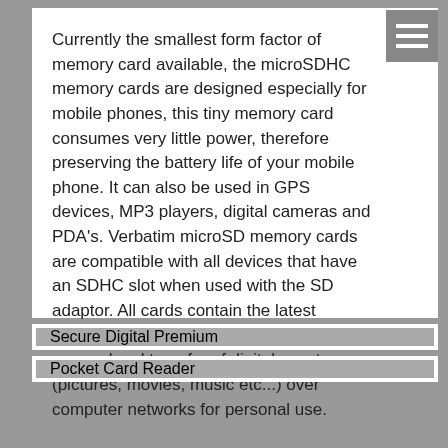Currently the smallest form factor of memory card available, the microSDHC memory cards are designed especially for mobile phones, this tiny memory card consumes very little power, therefore preserving the battery life of your mobile phone. It can also be used in GPS devices, MP3 players, digital cameras and PDA's. Verbatim microSD memory cards are compatible with all devices that have an SDHC slot when used with the SD adaptor. All cards contain the latest copyright management technology to ensure legal transfer of digital assets (pictures, movies, music etc...) over computer networks for personal use.
Secure Digital Premium
Pocket Card Reader